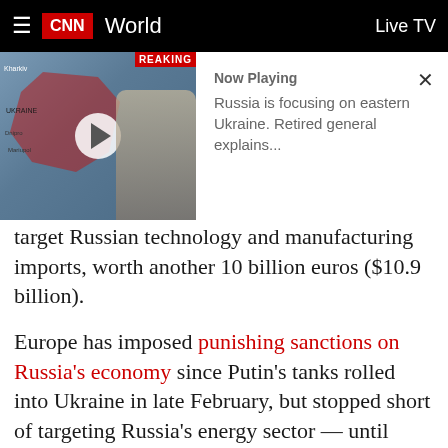CNN World | Live TV
[Figure (screenshot): CNN video thumbnail showing a man pointing at a map of Ukraine with red markings; BREAKING news banner visible at top right of thumbnail]
Now Playing
Russia is focusing on eastern Ukraine. Retired general explains...
target Russian technology and manufacturing imports, worth another 10 billion euros ($10.9 billion).
Europe has imposed punishing sanctions on Russia's economy since Putin's tanks rolled into Ukraine in late February, but stopped short of targeting Russia's energy sector — until now. Images of unarmed civilians, bound and shot, lying along Bucha's roads — which were until recently under Russian occupation — have convinced leaders to change tack.
More details on the new round of sanctions, including the timeline for the ban on coal, are expected